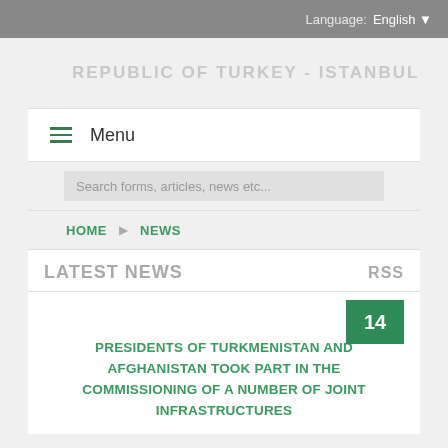Language: English
REPUBLIC OF TURKEY - ISTANBUL
Menu
Search forms, articles, news etc...
HOME
NEWS
LATEST NEWS
RSS
14
PRESIDENTS OF TURKMENISTAN AND AFGHANISTAN TOOK PART IN THE COMMISSIONING OF A NUMBER OF JOINT INFRASTRUCTURES